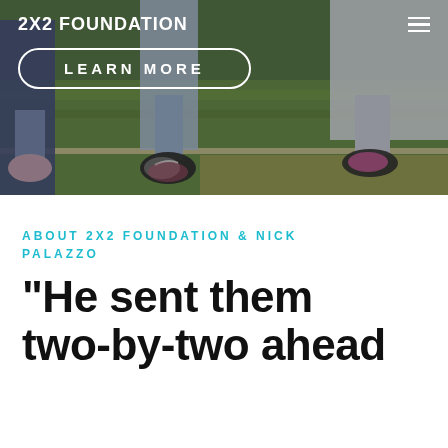[Figure (photo): Soccer/football players' legs and feet on a grass field, wearing cleats, with a white line on the ground.]
2X2 FOUNDATION
LEARN MORE
ABOUT 2X2 FOUNDATION & NICK PALAZZO
"He sent them two-by-two ahead